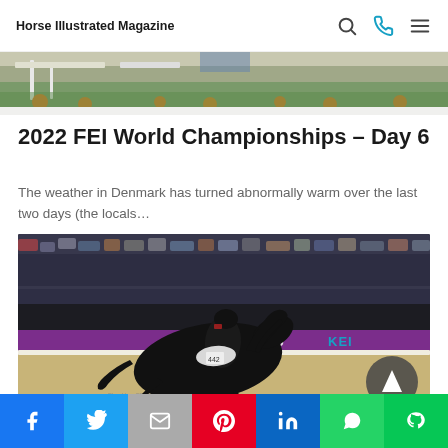Horse Illustrated Magazine
[Figure (photo): Top strip of a horse competition arena image, showing arena fence/barriers and crowd in background]
2022 FEI World Championships – Day 6
The weather in Denmark has turned abnormally warm over the last two days (the locals…
[Figure (photo): A rider on a black horse performing dressage at the Blue Hors FEI World Dressage Championship, with purple sponsorship banners reading 'ecco' visible in background, and a large crowd in the stands. A circular back-to-top button is overlaid in the bottom right.]